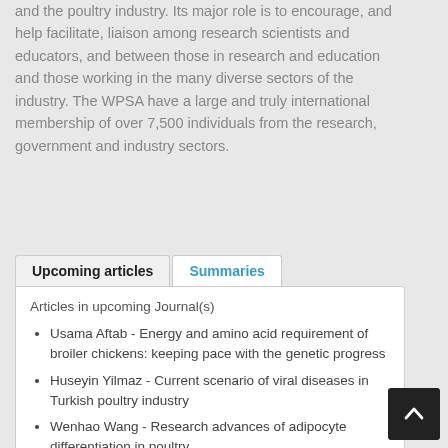and the poultry industry. Its major role is to encourage, and help facilitate, liaison among research scientists and educators, and between those in research and education and those working in the many diverse sectors of the industry. The WPSA have a large and truly international membership of over 7,500 individuals from the research, government and industry sectors.
Upcoming articles  |  Summaries
Articles in upcoming Journal(s)
Usama Aftab - Energy and amino acid requirement of broiler chickens: keeping pace with the genetic progress
Huseyin Yilmaz - Current scenario of viral diseases in Turkish poultry industry
Wenhao Wang - Research advances of adipocyte differentiation in poultry